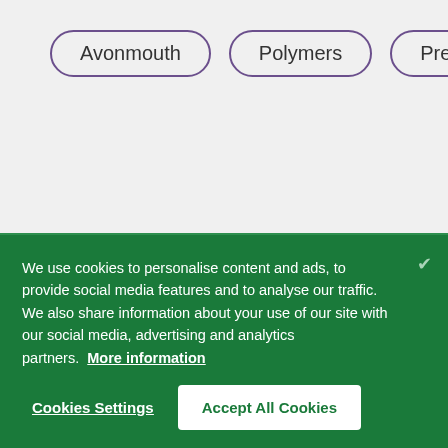Avonmouth
Polymers
Press
We use cookies to personalise content and ads, to provide social media features and to analyse our traffic. We also share information about your use of our site with our social media, advertising and analytics partners. More information
Cookies Settings
Accept All Cookies